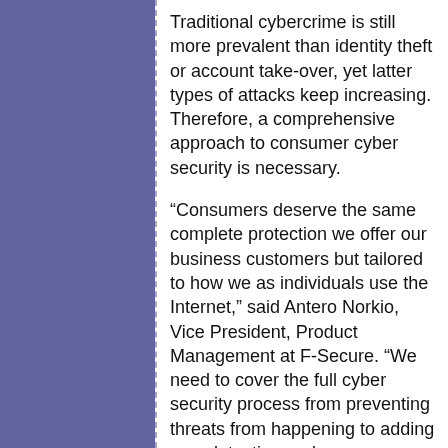Traditional cybercrime is still more prevalent than identity theft or account take-over, yet latter types of attacks keep increasing. Therefore, a comprehensive approach to consumer cyber security is necessary.
“Consumers deserve the same complete protection we offer our business customers but tailored to how we as individuals use the Internet,” said Antero Norkio, Vice President, Product Management at F-Secure. “We need to cover the full cyber security process from preventing threats from happening to adding new detection and response capabilities to know you’re under a targeted attack.”
Add comment   Email to a Friend